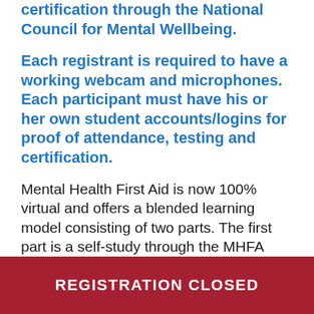certification through the National Council for Mental Wellbeing.
Each registrant is required to have a working webcam and microphones. Each participant must have his or her own student accounts/logins for proof of attendance, testing and certification.
Mental Health First Aid is now 100% virtual and offers a blended learning model consisting of two parts. The first part is a self-study through the MHFA USA learning management system that focuses on the purpose of MHFA, role of the First Aider, substance abuse disorders and recovery
REGISTRATION CLOSED